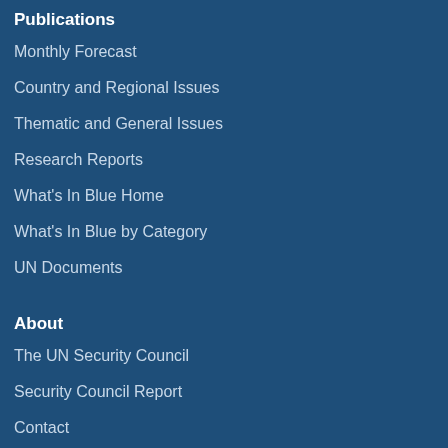Publications
Monthly Forecast
Country and Regional Issues
Thematic and General Issues
Research Reports
What's In Blue Home
What's In Blue by Category
UN Documents
About
The UN Security Council
Security Council Report
Contact
Subscribe